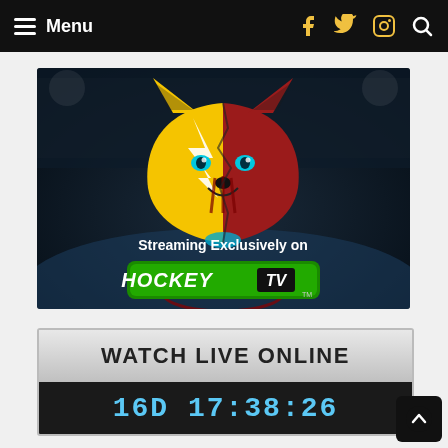Menu
[Figure (illustration): Hockey team mascot logo (wolf head, yellow and red) with text 'Streaming Exclusively on HOCKEY TV' on a dark hockey rink background]
[Figure (infographic): Watch Live Online countdown banner with text 'WATCH LIVE ONLINE' and timer '16D 17:38:26']